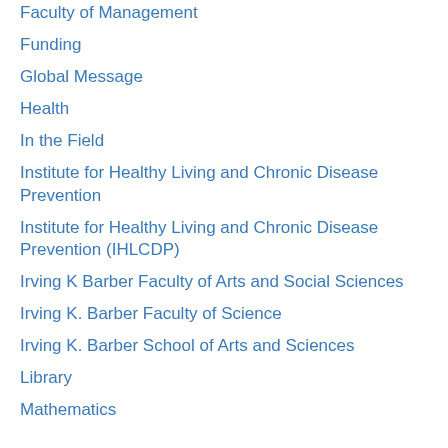Faculty of Management
Funding
Global Message
Health
In the Field
Institute for Healthy Living and Chronic Disease Prevention
Institute for Healthy Living and Chronic Disease Prevention (IHLCDP)
Irving K Barber Faculty of Arts and Social Sciences
Irving K. Barber Faculty of Science
Irving K. Barber School of Arts and Sciences
Library
Mathematics